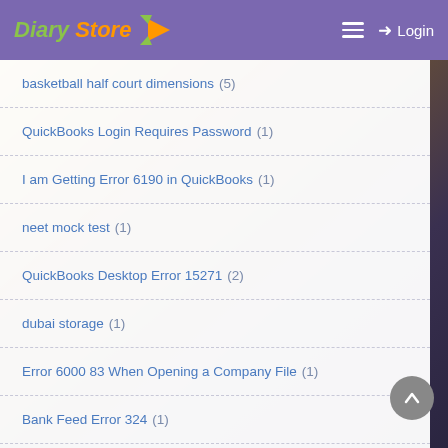Diary Store — Login
basketball half court dimensions (5)
QuickBooks Login Requires Password (1)
I am Getting Error 6190 in QuickBooks (1)
neet mock test (1)
QuickBooks Desktop Error 15271 (2)
dubai storage (1)
Error 6000 83 When Opening a Company File (1)
Bank Feed Error 324 (1)
What to do if I get an error 6094 (1)
Mwanandeke Kindembo (2)
Fly Solo (2)
QuickBooks Enterprise Error PS032 (1)